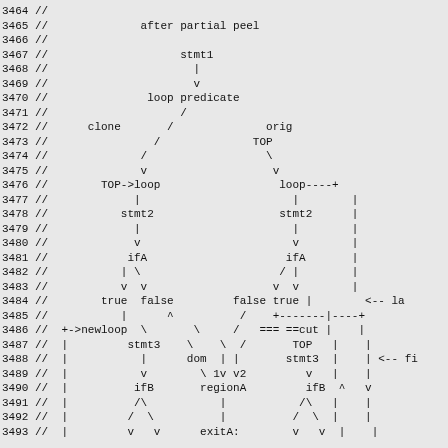[Figure (flowchart): ASCII art diagram showing a compiler/loop transformation tree structure labeled 'after partial peel', with nodes including stmt1, loop predicate, clone, orig, TOP, TOP->loop, loop, stmt2, ifA, true, false, +->newloop, stmt3, dom, regionA, ifB, exitA, etc. Line numbers 3464-3493 with // prefixes on left side.]